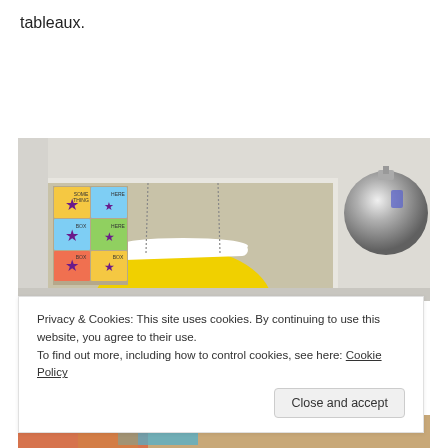tableaux.
[Figure (photo): Gallery room showing a large mixed-media artwork with colorful grid panels on the left side and yellow/beige abstract shapes. A silver reflective sphere/dome is mounted on the right wall. White walls and ceiling visible.]
Privacy & Cookies: This site uses cookies. By continuing to use this website, you agree to their use.
To find out more, including how to control cookies, see here: Cookie Policy
[Figure (photo): Partial view of a second photograph below the cookie banner, showing warm-toned colors suggesting a figure or object.]